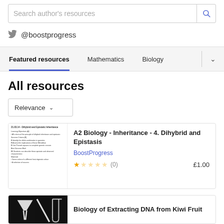Search author's resources
@boostprogress
Featured resources
Mathematics
Biology
All resources
Relevance
A2 Biology - Inheritance - 4. Dihybrid and Epistasis
BoostProgress
(0)  £1.00
Biology of Extracting DNA from Kiwi Fruit